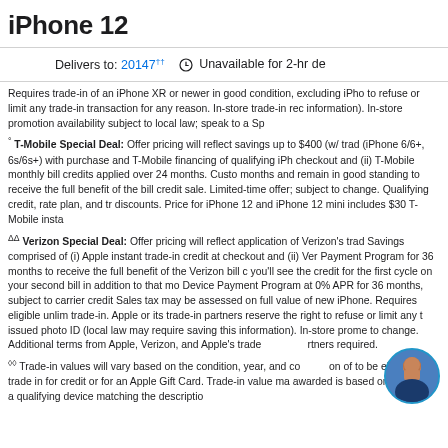iPhone 12
Delivers to: 20147†† Unavailable for 2-hr de
Requires trade-in of an iPhone XR or newer in good condition, excluding iPho to refuse or limit any trade-in transaction for any reason. In-store trade-in rec information). In-store promotion availability subject to local law; speak to a Sp
° T-Mobile Special Deal: Offer pricing will reflect savings up to $400 (w/ trad (iPhone 6/6+, 6s/6s+) with purchase and T-Mobile financing of qualifying iPh checkout and (ii) T-Mobile monthly bill credits applied over 24 months. Custo months and remain in good standing to receive the full benefit of the bill credit sale. Limited-time offer; subject to change. Qualifying credit, rate plan, and tr discounts. Price for iPhone 12 and iPhone 12 mini includes $30 T-Mobile insta
ΔΔ Verizon Special Deal: Offer pricing will reflect application of Verizon's trad Savings comprised of (i) Apple instant trade-in credit at checkout and (ii) Ver Payment Program for 36 months to receive the full benefit of the Verizon bill c you'll see the credit for the first cycle on your second bill in addition to that mo Device Payment Program at 0% APR for 36 months, subject to carrier credit Sales tax may be assessed on full value of new iPhone. Requires eligible unlim trade-in. Apple or its trade-in partners reserve the right to refuse or limit any t issued photo ID (local law may require saving this information). In-store prome to change. Additional terms from Apple, Verizon, and Apple's trade partners required.
◊◊ Trade-in values will vary based on the condition, year, and condition of to be eligible to trade in for credit or for an Apple Gift Card. Trade-in value ma awarded is based on receipt of a qualifying device matching the descriptio